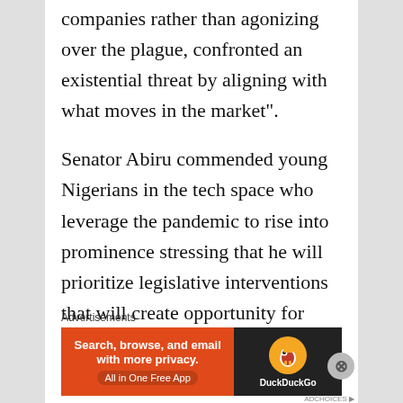companies rather than agonizing over the plague, confronted an existential threat by aligning with what moves in the market".
Senator Abiru commended young Nigerians in the tech space who leverage the pandemic to rise into prominence stressing that he will prioritize legislative interventions that will create opportunity for creativity of young people to boom.
Advertisements
[Figure (other): DuckDuckGo advertisement banner: orange left section with text 'Search, browse, and email with more privacy. All in One Free App', dark right section with DuckDuckGo duck logo and brand name.]